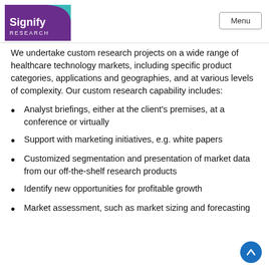Signify Research | Menu
We undertake custom research projects on a wide range of healthcare technology markets, including specific product categories, applications and geographies, and at various levels of complexity. Our custom research capability includes:
Analyst briefings, either at the client’s premises, at a conference or virtually
Support with marketing initiatives, e.g. white papers
Customized segmentation and presentation of market data from our off-the-shelf research products
Identify new opportunities for profitable growth
Market assessment, such as market sizing and forecasting